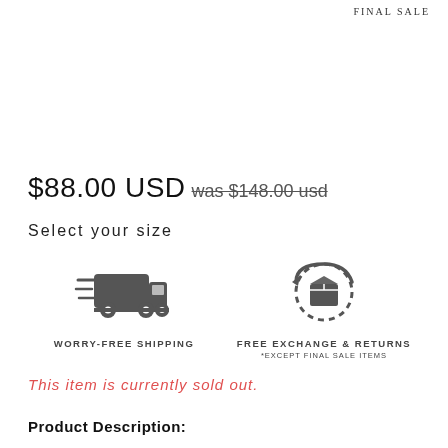FINAL SALE
$88.00 USD was $148.00 usd
Select your size
[Figure (illustration): Two icons side by side: a fast delivery truck (Worry-Free Shipping) and a circular exchange/return arrow icon (Free Exchange & Returns, *Except Final Sale Items)]
This item is currently sold out.
Product Description: